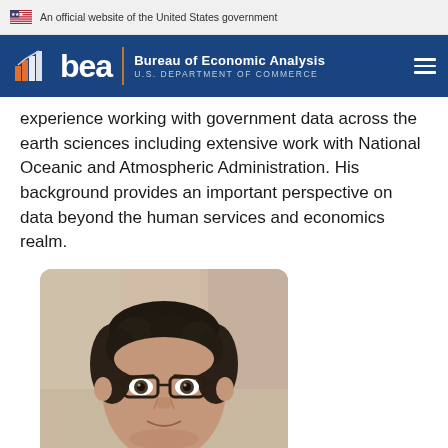An official website of the United States government
[Figure (logo): Bureau of Economic Analysis, U.S. Department of Commerce logo with BEA branding on dark blue background]
experience working with government data across the earth sciences including extensive work with National Oceanic and Atmospheric Administration. His background provides an important perspective on data beyond the human services and economics realm.
[Figure (photo): Portrait photo of a man with dark curly hair, wearing glasses, with a blurred building background]